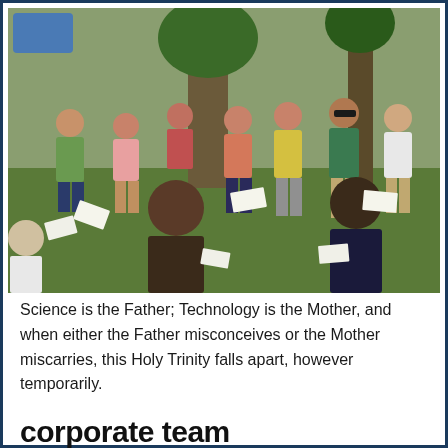[Figure (photo): Outdoor group activity photo showing a circle of people in a park or grassy area, holding papers or documents, appearing to be in a team-building or group exercise activity.]
Science is the Father; Technology is the Mother, and when either the Father misconceives or the Mother miscarries, this Holy Trinity falls apart, however temporarily.
corporate team